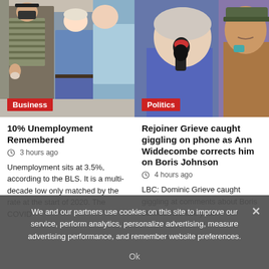[Figure (photo): People on a street, some wearing masks, business setting]
10% Unemployment Remembered
3 hours ago
Unemployment sits at 3.5%, according to the BLS. It is a multi-decade low only matched by the rate at the start of 2020. The COVID...
[Figure (photo): Older woman speaking into microphone with mouth open, man in background]
Rejoiner Grieve caught giggling on phone as Ann Widdecombe corrects him on Boris Johnson
4 hours ago
LBC: Dominic Grieve caught giggling at comments about Boris JohnsonWe use your
We and our partners use cookies on this site to improve our service, perform analytics, personalize advertising, measure advertising performance, and remember website preferences.